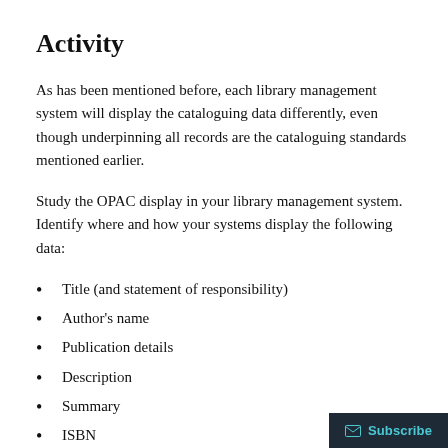Activity
As has been mentioned before, each library management system will display the cataloguing data differently, even though underpinning all records are the cataloguing standards mentioned earlier.
Study the OPAC display in your library management system. Identify where and how your systems display the following data:
Title (and statement of responsibility)
Author's name
Publication details
Description
Summary
ISBN